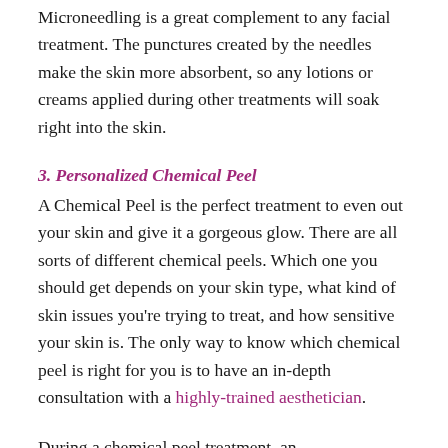Microneedling is a great complement to any facial treatment. The punctures created by the needles make the skin more absorbent, so any lotions or creams applied during other treatments will soak right into the skin.
3. Personalized Chemical Peel
A Chemical Peel is the perfect treatment to even out your skin and give it a gorgeous glow. There are all sorts of different chemical peels. Which one you should get depends on your skin type, what kind of skin issues you're trying to treat, and how sensitive your skin is. The only way to know which chemical peel is right for you is to have an in-depth consultation with a highly-trained aesthetician.
During a chemical peel treatment, an